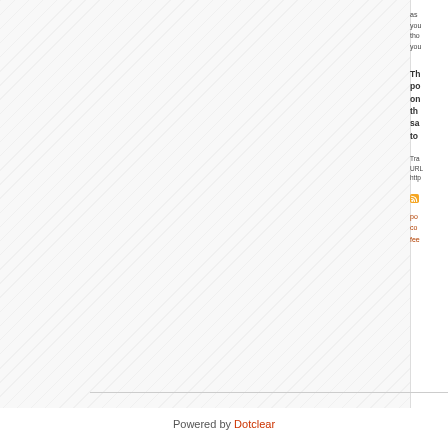[Figure (other): Hatched diagonal striped background area filling the left portion of the page]
as you tho you
Th po on th sa to
Tra URL http
po co fee
Powered by Dotclear